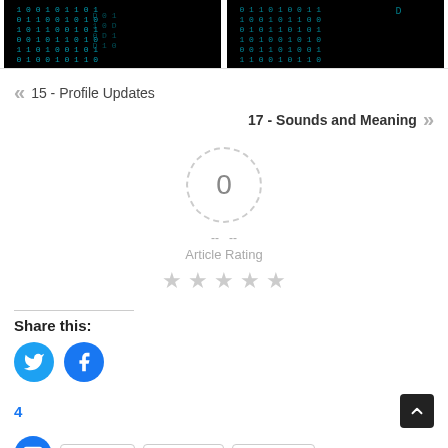[Figure (photo): Two matrix-style digital code images side by side with blue numbers on black background]
« 15 - Profile Updates
17 - Sounds and Meaning »
[Figure (other): Article rating widget with dashed circle showing 0, dashes on sides, Article Rating label, and 5 empty stars]
Share this:
[Figure (infographic): Twitter and Facebook circular share buttons in blue]
4
t O'Connor   Dorian Gray   Stef Mimosa